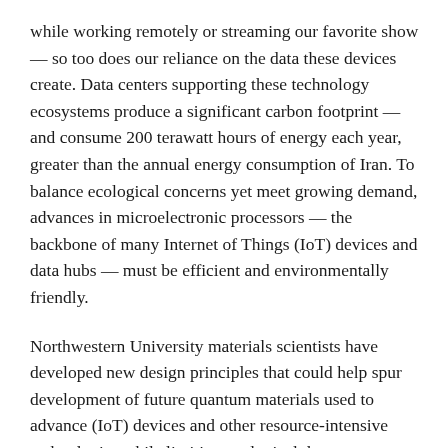while working remotely or streaming our favorite show — so too does our reliance on the data these devices create. Data centers supporting these technology ecosystems produce a significant carbon footprint — and consume 200 terawatt hours of energy each year, greater than the annual energy consumption of Iran. To balance ecological concerns yet meet growing demand, advances in microelectronic processors — the backbone of many Internet of Things (IoT) devices and data hubs — must be efficient and environmentally friendly.
Northwestern University materials scientists have developed new design principles that could help spur development of future quantum materials used to advance (IoT) devices and other resource-intensive technologies while limiting ecological damage.